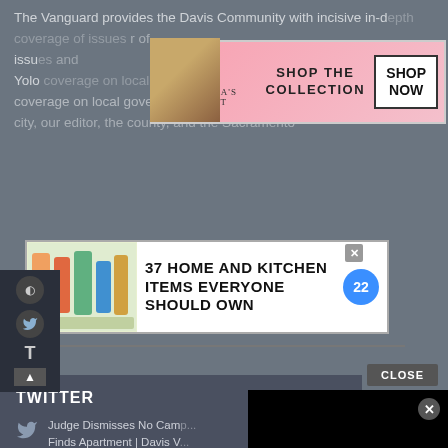The Vanguard provides the Davis Community with incisive in-depth coverage of issues ... and Yolo ... coverage on local government and policy issues affecting city, our editor, the county, and the Sacramento
[Figure (screenshot): Victoria's Secret advertisement banner: pink background with model, VS logo, 'SHOP THE COLLECTION' text, and 'SHOP NOW' button]
[Figure (screenshot): Advertisement: '37 HOME AND KITCHEN ITEMS EVERYONE SHOULD OWN' with blue badge showing '22' and colorful product image on left]
TWITTER
Judge Dismisses No Cam... Finds Apartment | Davis V... https://t.co/LA10BCJL0P
Get the latest news from Everyday Injustice - sign up for our new newsletter - Everyday Injustice -... https://t.co/dqCBLoPY6F
[Figure (screenshot): Bloomingdales advertisement: 'bloomingdales' logo in italic, 'View Today's Top Deals!', model in hat, 'SHOP NOW >' button]